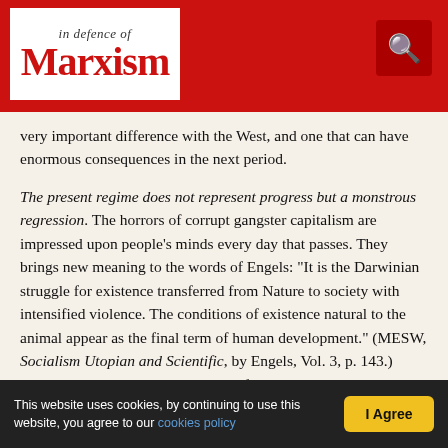In Defence of Marxism
very important difference with the West, and one that can have enormous consequences in the next period.
The present regime does not represent progress but a monstrous regression. The horrors of corrupt gangster capitalism are impressed upon people's minds every day that passes. They brings new meaning to the words of Engels: "It is the Darwinian struggle for existence transferred from Nature to society with intensified violence. The conditions of existence natural to the animal appear as the final term of human development." (MESW, Socialism Utopian and Scientific, by Engels, Vol. 3, p. 143.) Looking back on the present period from a broader historical perspective, it will be seen that the temporary aberration was not the October Revolution, but Stalinism and the rotten regime of Mafia capitalism that attempted to replace it.
Can the Russian bourgeoisie play a progressive role?
This website uses cookies, by continuing to use this website, you agree to our cookies policy